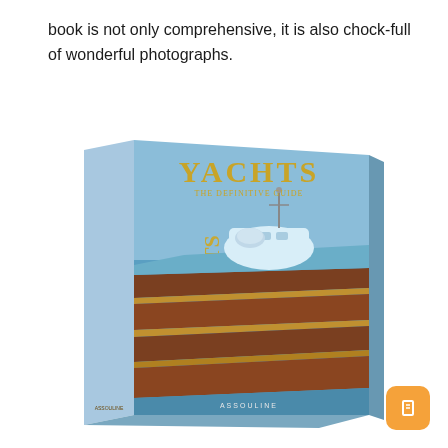book is not only comprehensive, it is also chock-full of wonderful photographs.
[Figure (photo): A hardcover coffee table book titled 'YACHTS: The Definitive Guide' published by Assouline. The cover features a light blue background with gold metallic title lettering and an illustration/photo of a large luxury superyacht showing its upper decks with brown wood striping and blue hull, along with deck equipment. The book spine also shows 'YACHTS' vertically in gold letters on a light blue background.]